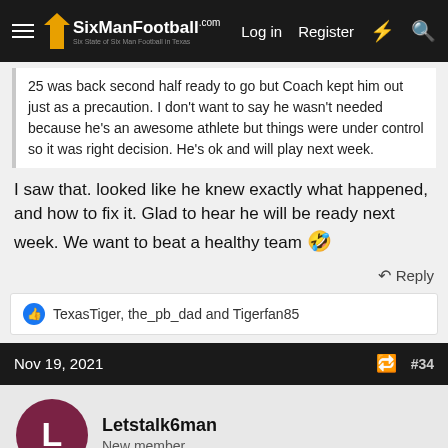SixManFootball.com — Log in  Register
25 was back second half ready to go but Coach kept him out just as a precaution. I don't want to say he wasn't needed because he's an awesome athlete but things were under control so it was right decision. He's ok and will play next week.
I saw that. looked like he knew exactly what happened, and how to fix it. Glad to hear he will be ready next week. We want to beat a healthy team 🤣
⤶ Reply
👍 TexasTiger, the_pb_dad and Tigerfan85
Nov 19, 2021  #34
Letstalk6man
New member
The game started out like it was going to be a nail biter but then